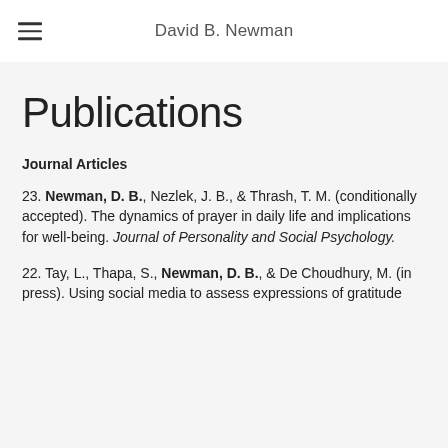David B. Newman
Publications
Journal Articles
23. Newman, D. B., Nezlek, J. B., & Thrash, T. M. (conditionally accepted). The dynamics of prayer in daily life and implications for well-being. Journal of Personality and Social Psychology.
22. Tay, L., Thapa, S., Newman, D. B., & De Choudhury, M. (in press). Using social media to assess expressions of gratitude